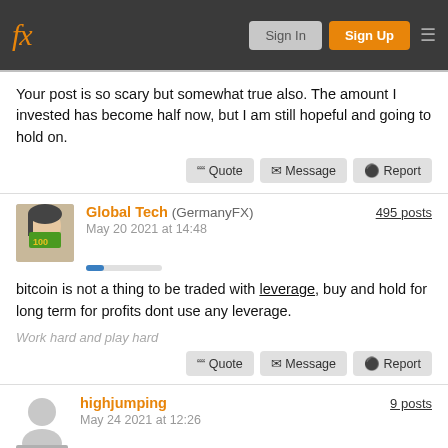fx | Sign In | Sign Up
Your post is so scary but somewhat true also. The amount I invested has become half now, but I am still hopeful and going to hold on.
Quote | Message | Report
Global Tech (GermanyFX) | May 20 2021 at 14:48 | 495 posts
bitcoin is not a thing to be traded with leverage, buy and hold for long term for profits dont use any leverage.
Work hard and play hard
Quote | Message | Report
highjumping | May 24 2021 at 12:26 | 9 posts
GermanyFX posted: bitcoin is not a thing to be traded with leverage, buy and hold for long term for profits dont use any leverage.